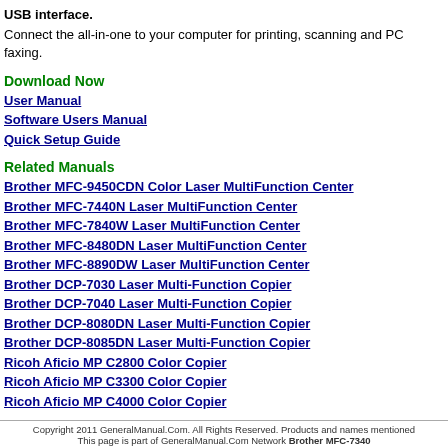USB interface.
Connect the all-in-one to your computer for printing, scanning and PC faxing.
Download Now
User Manual
Software Users Manual
Quick Setup Guide
Related Manuals
Brother MFC-9450CDN Color Laser MultiFunction Center
Brother MFC-7440N Laser MultiFunction Center
Brother MFC-7840W Laser MultiFunction Center
Brother MFC-8480DN Laser MultiFunction Center
Brother MFC-8890DW Laser MultiFunction Center
Brother DCP-7030 Laser Multi-Function Copier
Brother DCP-7040 Laser Multi-Function Copier
Brother DCP-8080DN Laser Multi-Function Copier
Brother DCP-8085DN Laser Multi-Function Copier
Ricoh Aficio MP C2800 Color Copier
Ricoh Aficio MP C3300 Color Copier
Ricoh Aficio MP C4000 Color Copier
Copyright 2011 GeneralManual.Com. All Rights Reserved. Products and names mentioned This page is part of GeneralManual.Com Network Brother MFC-7340